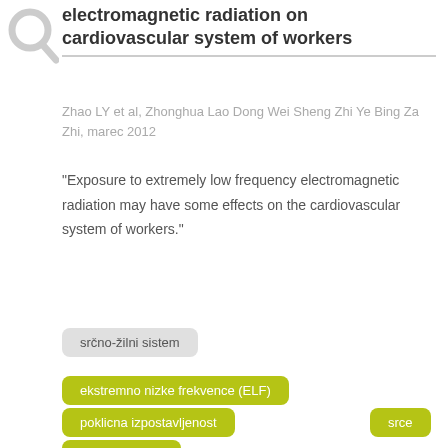[Figure (illustration): Magnifying glass icon, gray, top-left corner]
electromagnetic radiation on cardiovascular system of workers
Zhao LY et al, Zhonghua Lao Dong Wei Sheng Zhi Ye Bing Za Zhi, marec 2012
"Exposure to extremely low frequency electromagnetic radiation may have some effects on the cardiovascular system of workers."
srčno-žilni sistem
ekstremno nizke frekvence (ELF)
poklicna izpostavljenost
srce
epidemiologija